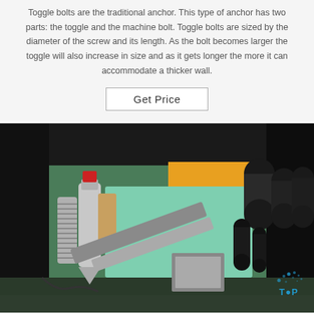Toggle bolts are the traditional anchor. This type of anchor has two parts: the toggle and the machine bolt. Toggle bolts are sized by the diameter of the screw and its length. As the bolt becomes larger the toggle will also increase in size and as it gets longer the more it can accommodate a thicker wall.
Get Price
[Figure (photo): Industrial machinery photograph showing metallic bolts, springs, tubes, and mechanical components of what appears to be a toggle bolt manufacturing or assembly machine. Teal/green metal frame visible with orange panel. Multiple dark cylindrical tubes visible on the right. A watermark 'TOP' with blue dots appears in the bottom right corner.]